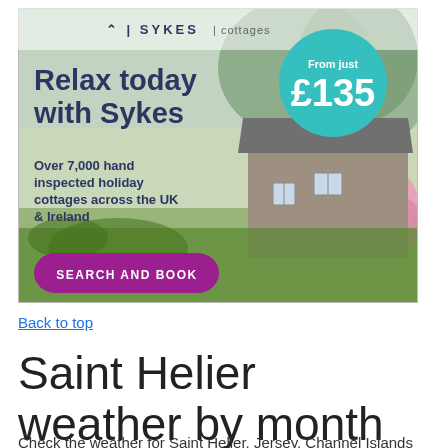[Figure (illustration): Sykes Cottages advertisement showing a stone cottage with pink flowers and trees in the background. Features logo, headline 'Relax today with Sykes', teal price circle 'From just £135', subtext about hand inspected holiday cottages, and a purple 'SEARCH AND BOOK' button.]
Back to top
Saint Helier weather by month
Check the weather for Saint Helier, Jersey, Channel Islands for a particular month by selecting from the list below. This gives the